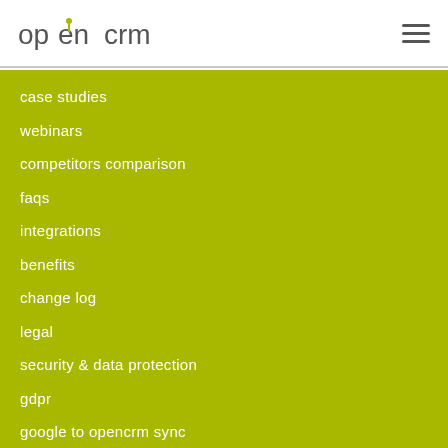[Figure (logo): OpenCRM logo with stylized person icon in the letter 'e']
case studies
webinars
competitors comparison
faqs
integrations
benefits
change log
legal
security & data protection
gdpr
google to opencrm sync
+44 (0) 1748 473000